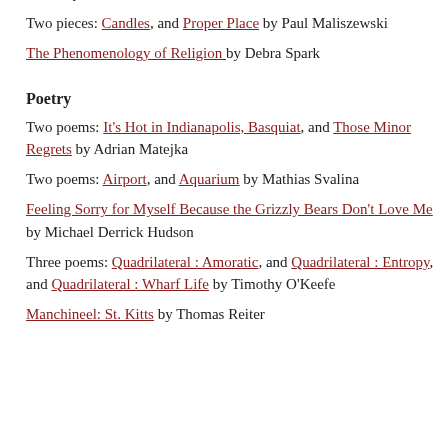trans. Cynthia Steele
Two pieces: Candles, and Proper Place by Paul Maliszewski
The Phenomenology of Religion by Debra Spark
Poetry
Two poems: It's Hot in Indianapolis, Basquiat, and Those Minor Regrets by Adrian Matejka
Two poems: Airport, and Aquarium by Mathias Svalina
Feeling Sorry for Myself Because the Grizzly Bears Don't Love Me by Michael Derrick Hudson
Three poems: Quadrilateral : Amoratic, and Quadrilateral : Entropy, and Quadrilateral : Wharf Life by Timothy O'Keefe
Manchineel: St. Kitts by Thomas Reiter